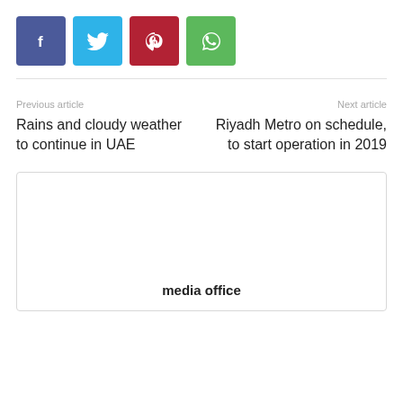[Figure (other): Social media share buttons: Facebook (blue-purple), Twitter (light blue), Pinterest (red), WhatsApp (green)]
Previous article
Rains and cloudy weather to continue in UAE
Next article
Riyadh Metro on schedule, to start operation in 2019
[Figure (other): Media office placeholder box with text 'media office']